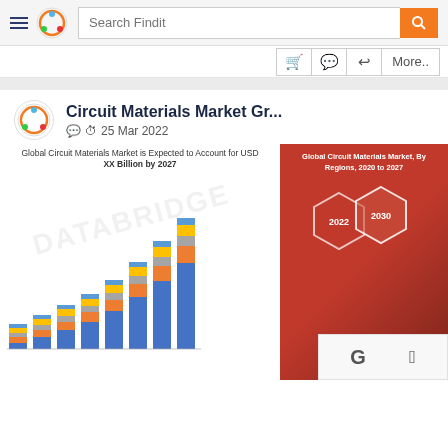Search Findit
Circuit Materials Market Gr...
25 Mar 2022
[Figure (screenshot): Screenshot of Findit web portal showing a stacked bar chart for Global Circuit Materials Market expected to account for USD XX Billion by 2027, alongside a red panel from Data Bridge Market Research showing Global Circuit Materials Market by Regions 2020 to 2027]
Global Circuit Materials Market is Expected to Account for USD XX Billion by 2027
Global Circuit Materials Market, By Regions, 2020 to 2027
DATA BRIDGE MARKET RESEARCH